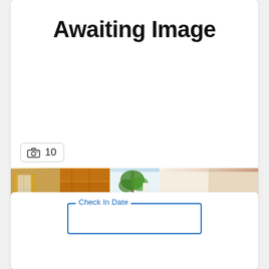Awaiting Image
📷 10
[Figure (photo): Strip of 5 hotel photos: bedroom with yellow curtains, sauna/wooden interior, indoor pool with plants and blue water, plated gourmet food with berries, meat dish with green vegetables]
Check In Date